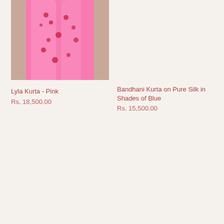[Figure (photo): Pink kurta dress hanging, light pink fabric with red floral embroidery/print details]
Lyla Kurta - Pink
Rs. 18,500.00
Bandhani Kurta on Pure Silk in Shades of Blue
Rs. 15,500.00